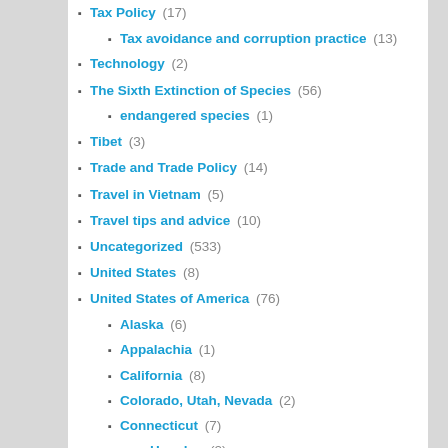Tax Policy (17)
Tax avoidance and corruption practice (13)
Technology (2)
The Sixth Extinction of Species (56)
endangered species (1)
Tibet (3)
Trade and Trade Policy (14)
Travel in Vietnam (5)
Travel tips and advice (10)
Uncategorized (533)
United States (8)
United States of America (76)
Alaska (6)
Appalachia (1)
California (8)
Colorado, Utah, Nevada (2)
Connecticut (7)
Hamden (2)
Florida (2)
Georgia Alabama Mississippi (2)
Great Lakes Water Basin (1)
Iowa (1)